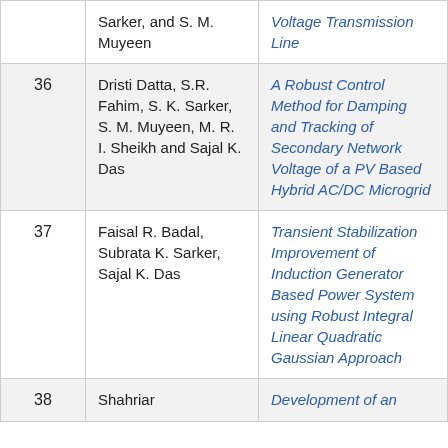| # | Authors | Title |
| --- | --- | --- |
|  | Sarker, and S. M. Muyeen | Voltage Transmission Line |
| 36 | Dristi Datta, S.R. Fahim, S. K. Sarker, S. M. Muyeen, M. R. I. Sheikh and Sajal K. Das | A Robust Control Method for Damping and Tracking of Secondary Network Voltage of a PV Based Hybrid AC/DC Microgrid |
| 37 | Faisal R. Badal, Subrata K. Sarker, Sajal K. Das | Transient Stabilization Improvement of Induction Generator Based Power System using Robust Integral Linear Quadratic Gaussian Approach |
| 38 | Shahriar | Development of an |